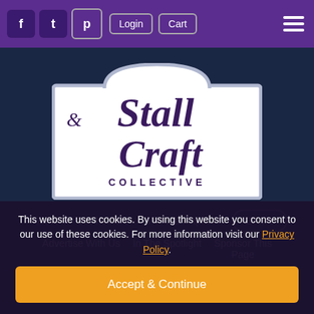f  t  p  Login  Cart  ≡
[Figure (logo): Stall & Craft Collective logo — white arched badge with dark navy background, serif italic text reading 'Stall & Craft' and 'COLLECTIVE' in small caps]
Home   Stallholders   The Marketplace   Events
Advertise With Us   In The Spotlight   Sponsor This Page
This website uses cookies. By using this website you consent to our use of these cookies. For more information visit our Privacy Policy.
Accept & Continue